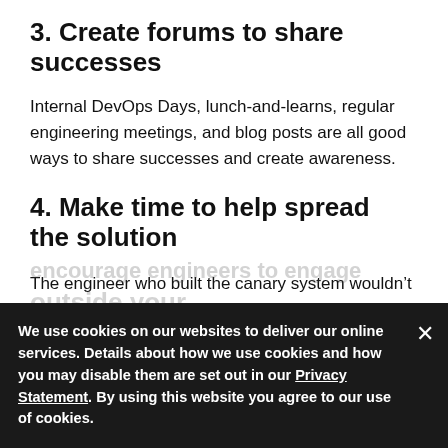3. Create forums to share successes
Internal DevOps Days, lunch-and-learns, regular engineering meetings, and blog posts are all good ways to share successes and create awareness.
4. Make time to help spread the solution
The engineer who built the canary system wouldn’t have been able to drive adoption if she hadn’t been given time to document her approach – and coach other teams through it
We use cookies on our websites to deliver our online services. Details about how we use cookies and how you may disable them are set out in our Privacy Statement. By using this website you agree to our use of cookies.